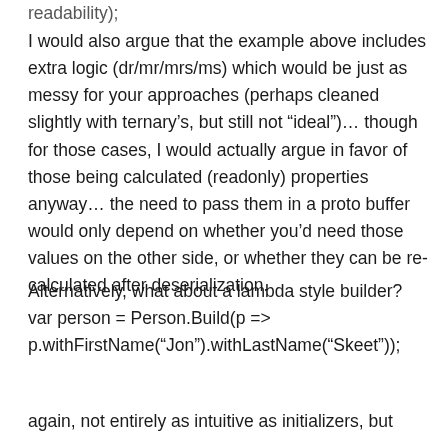readability);
I would also argue that the example above includes extra logic (dr/mr/mrs/ms) which would be just as messy for your approaches (perhaps cleaned slightly with ternary’s, but still not “ideal”)… though for those cases, I would actually argue in favor of those being calculated (readonly) properties anyway… the need to pass them in a proto buffer would only depend on whether you’d need those values on the other side, or whether they can be re-calculated after deserialization.
Alternatively, what about a lambda style builder? var person = Person.Build(p => p.withFirstName(“Jon”).withLastName(“Skeet”));
again, not entirely as intuitive as initializers, but